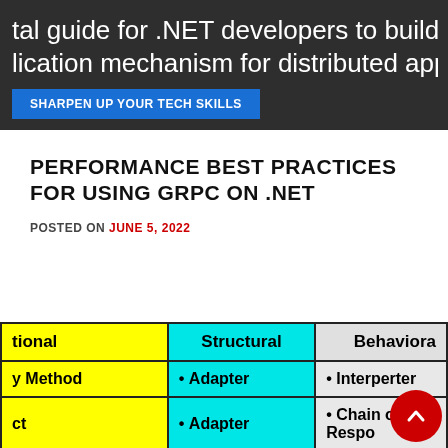tal guide for .NET developers to build efficie lication mechanism for distributed apps
SHARPEN UP YOUR TECH SKILLS
PERFORMANCE BEST PRACTICES FOR USING GRPC ON .NET
POSTED ON JUNE 5, 2022
| tional | Structural | Behaviora |
| --- | --- | --- |
| y Method | • Adapter | • Interperter |
| ct | • Adapter | • Chain of Respo |